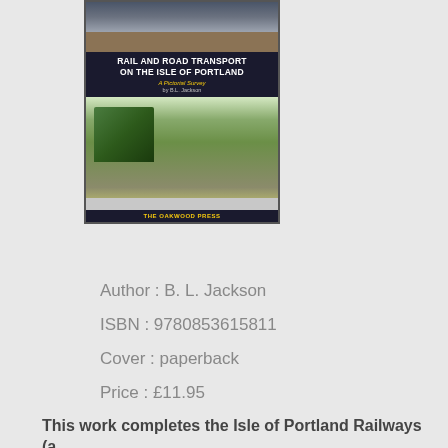[Figure (illustration): Book cover for 'Rail and Road Transport on the Isle of Portland: A Pictorial Survey' by B.L. Jackson, published by The Oakwood Press. Dark navy cover with two photographs — a top rail photo and a bottom photo of a green double-decker bus on a road.]
Author : B. L. Jackson
ISBN : 9780853615811
Cover : paperback
Price : £11.95
This work completes the Isle of Portland Railways (a